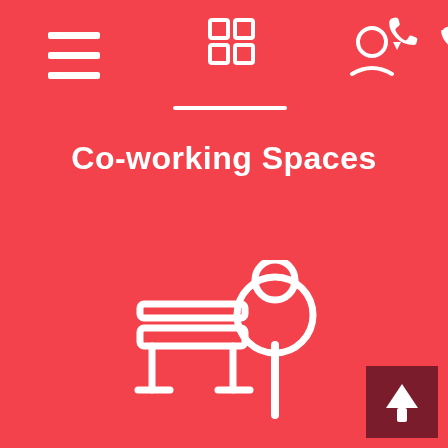[Figure (screenshot): Website header screenshot showing a red/coral background with a hamburger menu icon on the left, a grid/logo icon in the center with a white underline, and a user account icon with dropdown arrow and phone icon on the right, all in white.]
Co-working Spaces
[Figure (illustration): White line-art illustration of an outdoor park bench and a tree on a red/coral background.]
[Figure (illustration): Dark red square button with a white upward arrow in the bottom-right corner.]